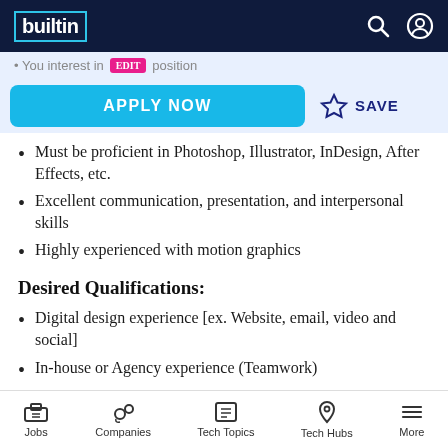builtin
Must be proficient in Photoshop, Illustrator, InDesign, After Effects, etc.
Excellent communication, presentation, and interpersonal skills
Highly experienced with motion graphics
Desired Qualifications:
Digital design experience [ex. Website, email, video and social]
In-house or Agency experience (Teamwork)
Well-versed with an unwavering...
Jobs | Companies | Tech Topics | Tech Hubs | More